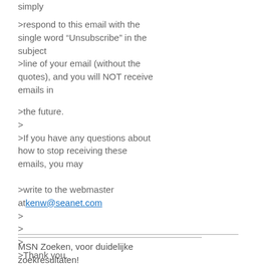simply
>respond to this email with the single word “Unsubscribe” in the subject
>line of your email (without the quotes), and you will NOT receive emails in
>the future.
>
>If you have any questions about how to stop receiving these emails, you may
>write to the webmaster at kenw@seanet.com
>
>
>
>Thank you.
MSN Zoeken, voor duidelijke zoekresultaten!